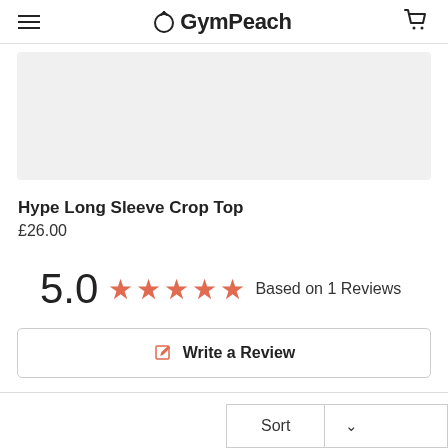GymPeach
[Figure (photo): Product image placeholder area (light grey background) for Hype Long Sleeve Crop Top]
Hype Long Sleeve Crop Top
£26.00
5.0  ★★★★★  Based on 1 Reviews
✏ Write a Review
Sort